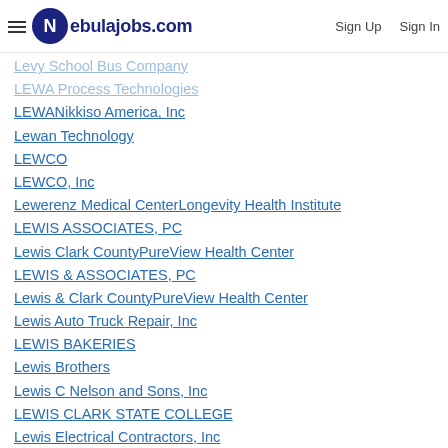Nebulajobs.com | Sign Up | Sign In
Levy School Bus Company
LEWA Process Technologies
LEWANikkiso America, Inc
Lewan Technology
LEWCO
LEWCO, Inc
Lewerenz Medical CenterLongevity Health Institute
LEWIS ASSOCIATES, PC
Lewis Clark CountyPureView Health Center
LEWIS & ASSOCIATES, PC
Lewis & Clark CountyPureView Health Center
Lewis Auto Truck Repair, Inc
LEWIS BAKERIES
Lewis Brothers
Lewis C Nelson and Sons, Inc
LEWIS CLARK STATE COLLEGE
Lewis Electrical Contractors, Inc
Lewis Engineering Company
Lewis Floor and Home
Lewis Fowler
Lewis Group
Lewis Industrial Services, Inc